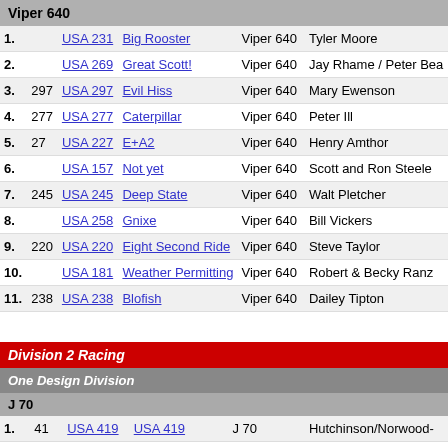Viper 640
| # | Sail# | Country | Boat Name | Class | Skipper |
| --- | --- | --- | --- | --- | --- |
| 1. |  | USA 231 | Big Rooster | Viper 640 | Tyler Moore |
| 2. |  | USA 269 | Great Scott! | Viper 640 | Jay Rhame / Peter Bea... |
| 3. | 297 | USA 297 | Evil Hiss | Viper 640 | Mary Ewenson |
| 4. | 277 | USA 277 | Caterpillar | Viper 640 | Peter Ill |
| 5. | 27 | USA 227 | E+A2 | Viper 640 | Henry Amthor |
| 6. |  | USA 157 | Not yet | Viper 640 | Scott and Ron Steele |
| 7. | 245 | USA 245 | Deep State | Viper 640 | Walt Pletcher |
| 8. |  | USA 258 | Gnixe | Viper 640 | Bill Vickers |
| 9. | 220 | USA 220 | Eight Second Ride | Viper 640 | Steve Taylor |
| 10. |  | USA 181 | Weather Permitting | Viper 640 | Robert & Becky Ranz... |
| 11. | 238 | USA 238 | Blofish | Viper 640 | Dailey Tipton |
Division 2 Racing
One Design Division
J 70
| # | Sail# | Country | Boat Name | Class | Skipper |
| --- | --- | --- | --- | --- | --- |
| 1. | 41 | USA 419 | USA 419 | J 70 | Hutchinson/Norwood... |